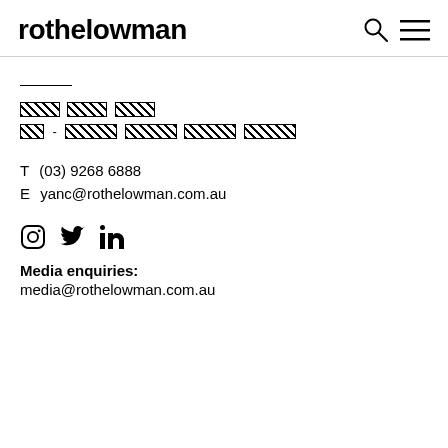rothelowman
[redacted name] [redacted role - redacted]
T  (03) 9268 6888
E  yanc@rothelowman.com.au
[Figure (other): Social media icons: Instagram, Twitter, LinkedIn]
Media enquiries:
media@rothelowman.com.au